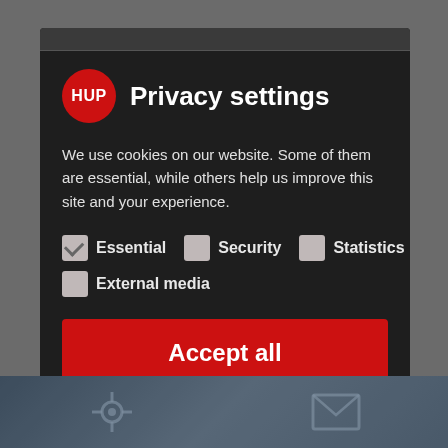HUP Privacy settings
We use cookies on our website. Some of them are essential, while others help us improve this site and your experience.
Essential (checked)
Security (unchecked)
Statistics (unchecked)
External media (unchecked)
Accept all
Save
Individual privacy settings
Cookie-Details | Privacy policy | Imprint